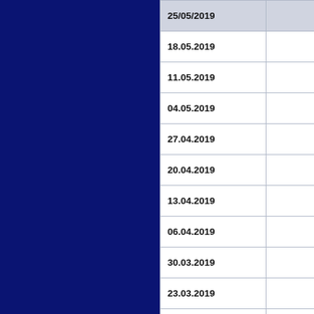| Date |  |
| --- | --- |
| 25/05/2019 |  |
| 18.05.2019 |  |
| 11.05.2019 |  |
| 04.05.2019 |  |
| 27.04.2019 |  |
| 20.04.2019 |  |
| 13.04.2019 |  |
| 06.04.2019 |  |
| 30.03.2019 |  |
| 23.03.2019 |  |
| 16.03.2019 | S |
| 09.03.2019 |  |
| 02.03.2019 |  |
| 23.02.2019 |  |